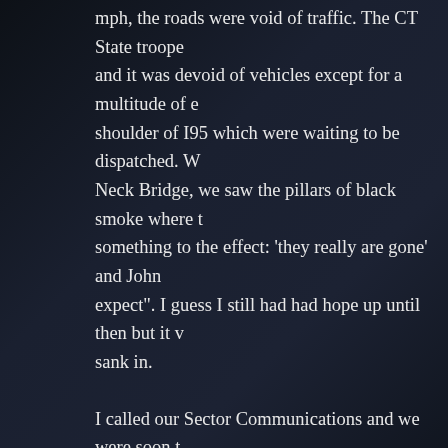mph, the roads were void of traffic. The CT State troope and it was devoid of vehicles except for a multitude of e shoulder of I95 which were waiting to be dispatched. W Neck Bridge, we saw the pillars of black smoke where t something to the effect: 'they really are gone' and John expect". I guess I still had had hope up until then but it v sank in.
I called our Sector Communications and we were soon t Once there, we saw everyone was in shock to one exten organized, we soon began the tedious task of trying to a the Custom House at the WTC even though phone servi recall, I was the one able to get through to the last missi night – he happened to be the Primary Firearms Instruct good friend of mine Rich M.. It was a joyous moment, o home. If I remember right, he had walked home to Colle distance of about 14 miles and he was no spring chick